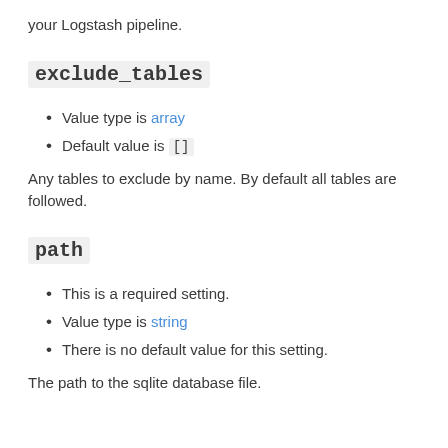your Logstash pipeline.
exclude_tables
Value type is array
Default value is []
Any tables to exclude by name. By default all tables are followed.
path
This is a required setting.
Value type is string
There is no default value for this setting.
The path to the sqlite database file.